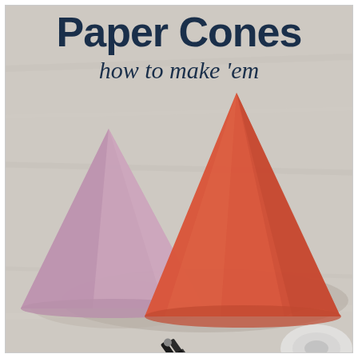Paper Cones
how to make 'em
[Figure (photo): A light wooden surface background with a lavender/purple paper cone on the left and a coral/red paper cone on the right. In the foreground bottom-right area there is a Scotch brand scissors and a tape dispenser. The photo illustrates how to make paper cones craft tutorial.]